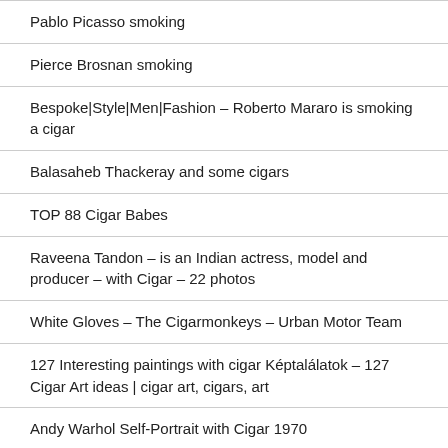Pablo Picasso smoking
Pierce Brosnan smoking
Bespoke|Style|Men|Fashion – Roberto Mararo is smoking a cigar
Balasaheb Thackeray and some cigars
TOP 88 Cigar Babes
Raveena Tandon – is an Indian actress, model and producer – with Cigar – 22 photos
White Gloves – The Cigarmonkeys – Urban Motor Team
127 Interesting paintings with cigar Képtalálatok – 127 Cigar Art ideas | cigar art, cigars, art
Andy Warhol Self-Portrait with Cigar 1970